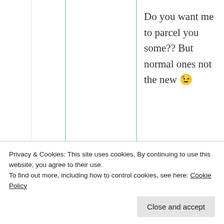Do you want me to parcel you some?? But normal ones not the new 😉
★ Liked by 1 person
[Figure (illustration): User avatar for mildredprincewelch — gold/dark yellow geometric star/cross badge icon]
mildredprince welch
18th Jun 2021 at
Privacy & Cookies: This site uses cookies. By continuing to use this website, you agree to their use. To find out more, including how to control cookies, see here: Cookie Policy